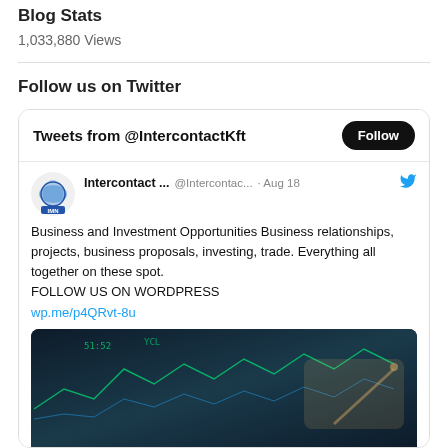Blog Stats
1,033,880 Views
Follow us on Twitter
[Figure (screenshot): Twitter widget showing Tweets from @IntercontactKft with a Follow button, a tweet by Intercontact... @Intercontac... · Aug 18 about Business and Investment Opportunities with a link wp.me/p4QRvt-8u and a finance-themed image of someone writing on a chart screen.]